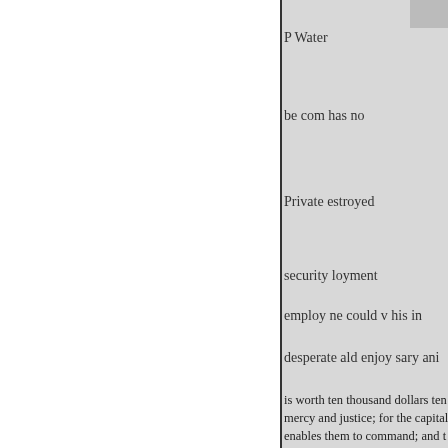P Water
be com has no
Private estroyed
security loyment
employ ne could v his in
desperate ald enjoy sary ani
is worth ten thousand dollars ten mercy and justice; for the capital enables them to command; and t designated. Thus, a family of po themselves, and make about six They would work no harder than relieved of most of the cares of l would they lose in liberty and eq than now, and approach nearer to render their situation preferable t slaves than guardians or masters